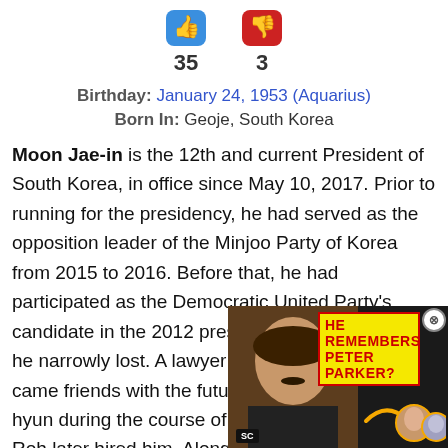[Figure (infographic): Thumbs up (blue) showing 35 votes and thumbs down (red) showing 3 votes]
Birthday: January 24, 1953 (Aquarius)
Born In: Geoje, South Korea
Moon Jae-in is the 12th and current President of South Korea, in office since May 10, 2017. Prior to running for the presidency, he had served as the opposition leader of the Minjoo Party of Korea from 2015 to 2016. Before that, he had participated as the Democratic United Party's candidate in the 2012 presidential election which he narrowly lost. A lawyer by profession, he be[came friends with] the future President, Roh M[oo-hyun during the] course of his legal career a[nd Roh later hired] him. Along with Roh, also a
[Figure (photo): Advertisement overlay showing a man's face with yellow text box reading HE REMEMBERS PETER PARKER? with SC logo and arrow pointing to two circular photos]